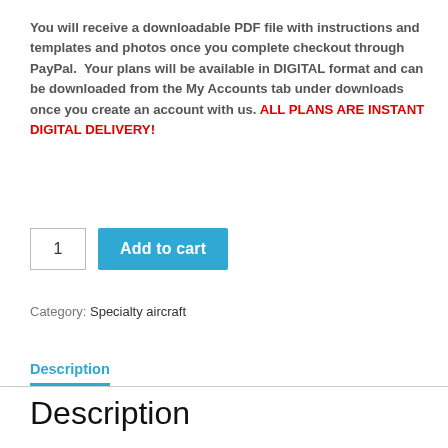You will receive a downloadable PDF file with instructions and templates and photos once you complete checkout through PayPal.  Your plans will be available in DIGITAL format and can be downloaded from the My Accounts tab under downloads once you create an account with us. ALL PLANS ARE INSTANT DIGITAL DELIVERY!
[Figure (other): E-commerce add to cart widget: quantity input box showing '1' and a blue 'Add to cart' button]
Category: Specialty aircraft
Description
Description